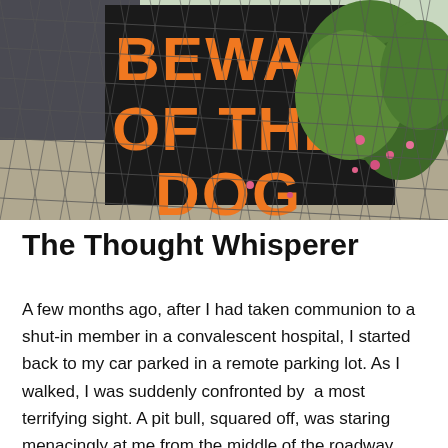[Figure (photo): A photograph taken through a chain-link fence showing a black sign with orange bold text reading 'BEWARE OF THE DOG'. Green shrubs and pink flowers are visible on the right side behind the fence.]
The Thought Whisperer
A few months ago, after I had taken communion to a shut-in member in a convalescent hospital, I started back to my car parked in a remote parking lot. As I walked, I was suddenly confronted by  a most terrifying sight. A pit bull, squared off, was staring menacingly at me from the middle of the roadway.